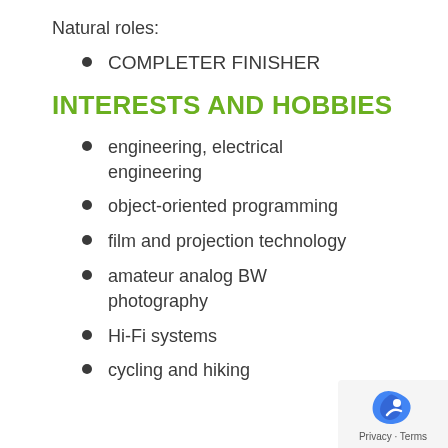Natural roles:
COMPLETER FINISHER
INTERESTS AND HOBBIES
engineering, electrical engineering
object-oriented programming
film and projection technology
amateur analog BW photography
Hi-Fi systems
cycling and hiking